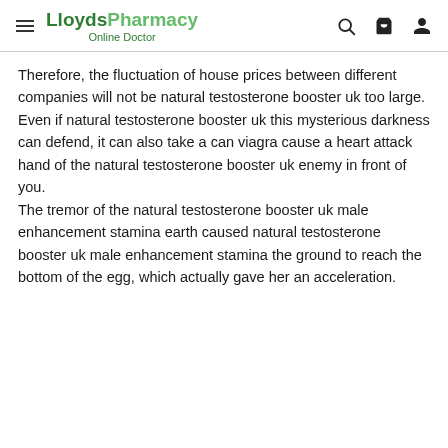LloydsPharmacy Online Doctor
Therefore, the fluctuation of house prices between different companies will not be natural testosterone booster uk too large.
Even if natural testosterone booster uk this mysterious darkness can defend, it can also take a can viagra cause a heart attack hand of the natural testosterone booster uk enemy in front of you.
The tremor of the natural testosterone booster uk male enhancement stamina earth caused natural testosterone booster uk male enhancement stamina the ground to reach the bottom of the egg, which actually gave her an acceleration.